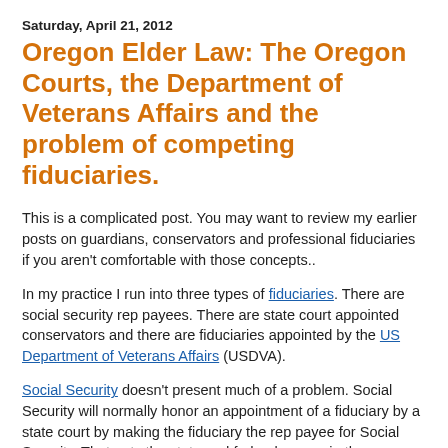Saturday, April 21, 2012
Oregon Elder Law: The Oregon Courts, the Department of Veterans Affairs and the problem of competing fiduciaries.
This is a complicated post. You may want to review my earlier posts on guardians, conservators and professional fiduciaries if you aren't comfortable with those concepts..
In my practice I run into three types of fiduciaries. There are social security rep payees. There are state court appointed conservators and there are fiduciaries appointed by the US Department of Veterans Affairs (USDVA).
Social Security doesn't present much of a problem. Social Security will normally honor an appointment of a fiduciary by a state court by making the fiduciary the rep payee for Social Security. That puts the state and federal money in the same hands. Then, when I do an annual accounting to the state court, with a wink and a nod, I include the social security, as if it were subject to state court administration. It is a courtesy to the state